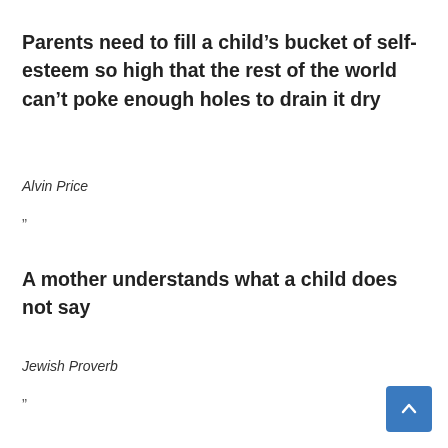Parents need to fill a child's bucket of self-esteem so high that the rest of the world can't poke enough holes to drain it dry
Alvin Price
”
A mother understands what a child does not say
Jewish Proverb
”